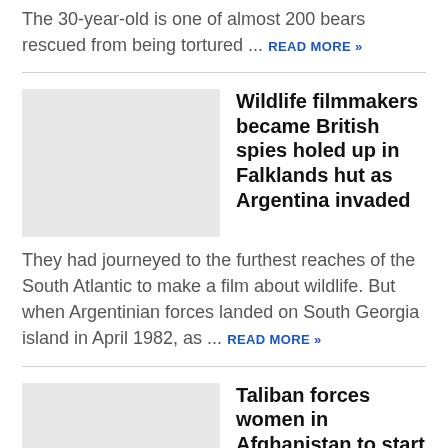The 30-year-old is one of almost 200 bears rescued from being tortured ... READ MORE »
Wildlife filmmakers became British spies holed up in Falklands hut as Argentina invaded
They had journeyed to the furthest reaches of the South Atlantic to make a film about wildlife. But when Argentinian forces landed on South Georgia island in April 1982, as ... READ MORE »
Taliban forces women in Afghanistan to start wearing head-to-toe